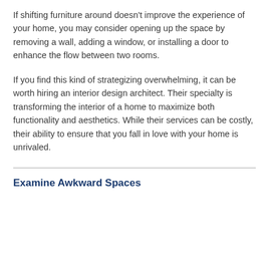If shifting furniture around doesn't improve the experience of your home, you may consider opening up the space by removing a wall, adding a window, or installing a door to enhance the flow between two rooms.
If you find this kind of strategizing overwhelming, it can be worth hiring an interior design architect. Their specialty is transforming the interior of a home to maximize both functionality and aesthetics. While their services can be costly, their ability to ensure that you fall in love with your home is unrivaled.
Examine Awkward Spaces